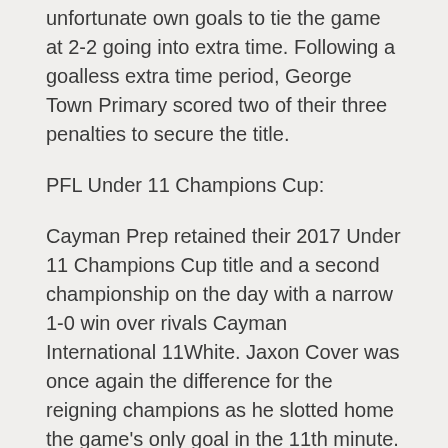unfortunate own goals to tie the game at 2-2 going into extra time. Following a goalless extra time period, George Town Primary scored two of their three penalties to secure the title.
PFL Under 11 Champions Cup:
Cayman Prep retained their 2017 Under 11 Champions Cup title and a second championship on the day with a narrow 1-0 win over rivals Cayman International 11White. Jaxon Cover was once again the difference for the reigning champions as he slotted home the game's only goal in the 11th minute.
Throughout the game, Cayman International 11White matched their opponents in all areas but unfortunately could not carve out that all-important equaliser. Cayman Prep's Preston Duval and his fellow defenders were solid in the back as they repeatedly